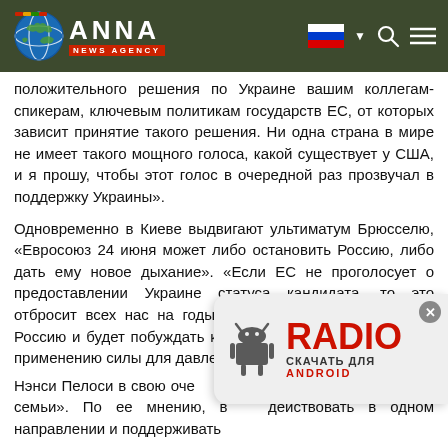ANNA NEWS AGENCY
положительного решения по Украине вашим коллегам-спикерам, ключевым политикам государств ЕС, от которых зависит принятие такого решения. Ни одна страна в мире не имеет такого мощного голоса, какой существует у США, и я прошу, чтобы этот голос в очередной раз прозвучал в поддержку Украины».
Одновременно в Киеве выдвигают ультиматум Брюсселю, «Евросоюз 24 июня может либо остановить Россию, либо дать ему новое дыхание». «Если ЕС не проголосует о предоставлении Украине статуса кандидата, то это отбросит всех нас на годы назад, одновременно усилит Россию и будет побуждать к дальнейшему, еще большему применению силы для давления на другие госуда...
Нэнси Пелоси в свою оче... понимает стремление Ки... семьи». По ее мнению, в... действовать в одном направлении и поддерживать
[Figure (logo): RADIO — СКАЧАТЬ ДЛЯ ANDROID advertisement banner with Android robot icon]